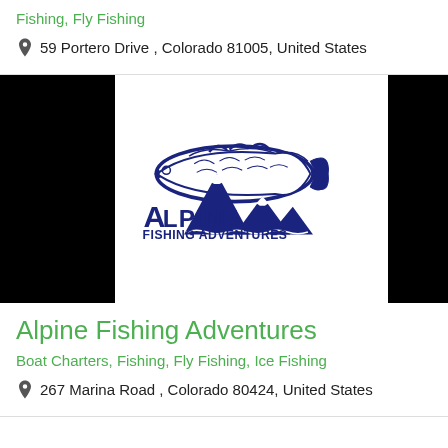Fishing, Fly Fishing
59 Portero Drive , Colorado 81005, United States
[Figure (logo): Alpine Fishing Adventures logo: a large fish arching over mountain peaks, with bold navy blue text reading 'Alpine Fishing Adventures']
Alpine Fishing Adventures
Boat Charters, Fishing, Fly Fishing, Ice Fishing
267 Marina Road , Colorado 80424, United States